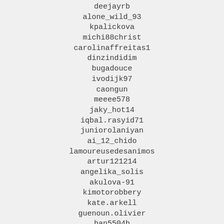deejayrb
alone_wild_93
kpalickova
michi88christ
carolinaffreitas1
dinzindidim
bugadouce
ivodijk97
caongun
meeee578
jaky_hot14
iqbal.rasyid71
juniorolaniyan
ai_12_chido
lamoureusedesanimos
artur121214
angelika_solis
akulova-91
kimotorobbery
kate.arkell
guenoun.olivier
han5504h
btmjcbs
denisscoo